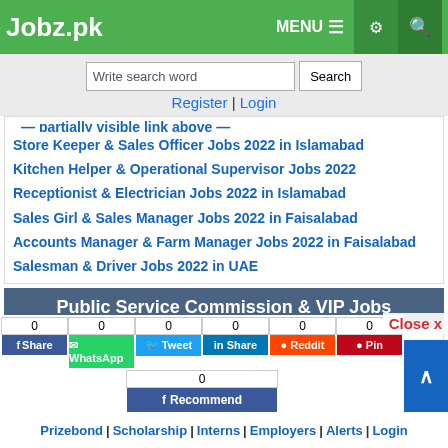Jobz.pk — MENU navigation header
Write search word | Search | Register | Login
Store Keeper & Sales Officer Jobs 2022 in Islamabad
Kitchen Helper & Operational Supervisor Jobs 2022
Receptionist & Electrician Jobs 2022 in Islamabad
Sales Girl & Sales Manager Jobs 2022 in Faisalabad
Accounts Manager & Farm Manager Jobs 2022 in Faisalabad
Salesman & Driver Jobs 2022 in UAE
Public Service Commission & VIP Jobs
FPSC
PPSC
SPSC
KPPSC
AJKPSC
BPSC
0 Share | 0 WhatsApp | 0 Tweet | 0 Share | 0 Reddit | 0 Pin | 0 Recommend
Prizebond | Scholarship | Interns | Employers | Alerts | Login